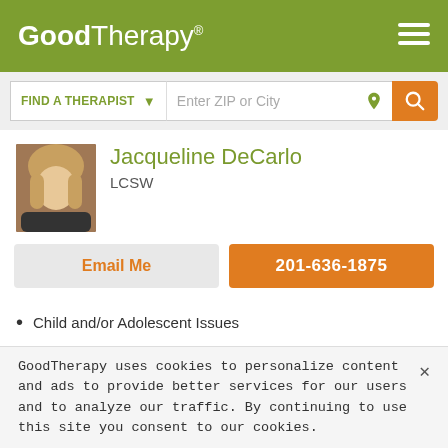GoodTherapy®
FIND A THERAPIST  Enter ZIP or City
Jacqueline DeCarlo
LCSW
Email Me
201-636-1875
Child and/or Adolescent Issues
Chronic Pain
Codependency / Dependency
Communication Problems
Compulsive Spending / Shopping
GoodTherapy uses cookies to personalize content and ads to provide better services for our users and to analyze our traffic. By continuing to use this site you consent to our cookies.